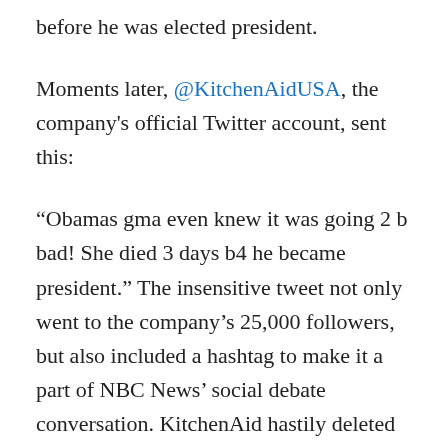before he was elected president.
Moments later, @KitchenAidUSA, the company's official Twitter account, sent this:
“Obamas gma even knew it was going 2 b bad! She died 3 days b4 he became president.” The insensitive tweet not only went to the company’s 25,000 followers, but also included a hashtag to make it a part of NBC News’ social debate conversation. KitchenAid hastily deleted the tweet, but the damage was done.